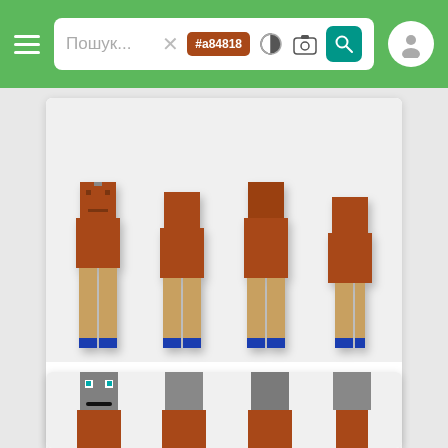Пошук... #a84818
[Figure (screenshot): Minecraft skin preview showing four views of a character wearing an orange shirt, tan/beige pants, and blue shoes, displayed on a white/gray card background]
TheFipsiHD
64x32  👁 110  ⬇ 8
[Figure (screenshot): Minecraft skin preview showing four views of a wolf/animal character with gray head wearing an orange outfit, displayed on a white/gray card background - partially visible at bottom of screen]